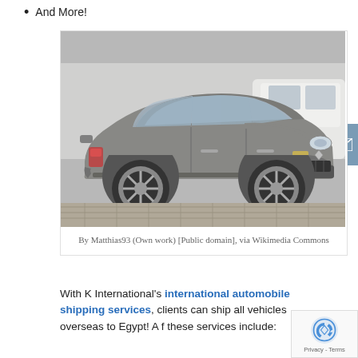And More!
[Figure (photo): A gray Renault Clio hatchback car parked on a brick-paved street, with another vehicle visible in the background.]
By Matthias93 (Own work) [Public domain], via Wikimedia Commons
With K International's international automobile shipping services, clients can ship all vehicles overseas to Egypt! A f these services include: